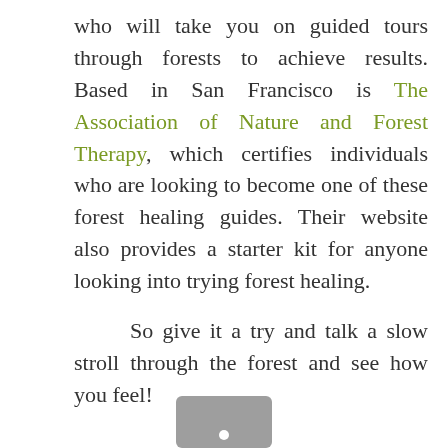who will take you on guided tours through forests to achieve results. Based in San Francisco is The Association of Nature and Forest Therapy, which certifies individuals who are looking to become one of these forest healing guides. Their website also provides a starter kit for anyone looking into trying forest healing.

So give it a try and talk a slow stroll through the forest and see how you feel!
[Figure (other): Gray navigation button with a white dot at the bottom center, partially visible at the bottom of the page]